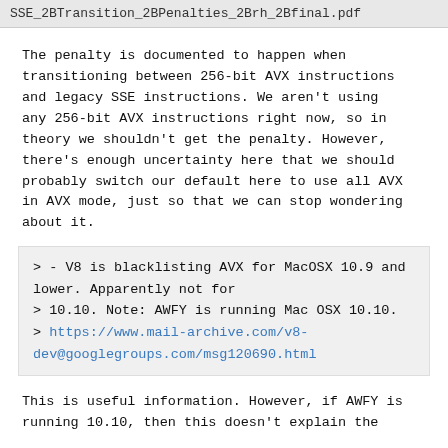SSE_2BTransition_2BPenalties_2Brh_2Bfinal.pdf
The penalty is documented to happen when transitioning between 256-bit AVX instructions and legacy SSE instructions. We aren't using any 256-bit AVX instructions right now, so in theory we shouldn't get the penalty. However, there's enough uncertainty here that we should probably switch our default here to use all AVX in AVX mode, just so that we can stop wondering about it.
> - V8 is blacklisting AVX for MacOSX 10.9 and lower. Apparently not for
> 10.10. Note: AWFY is running Mac OSX 10.10.
> https://www.mail-archive.com/v8-dev@googlegroups.com/msg120690.html
This is useful information. However, if AWFY is running 10.10, then this doesn't explain the